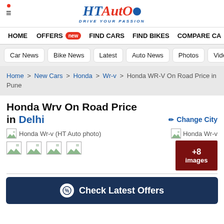HT Auto - Drive Your Passion
HOME
OFFERS new
FIND CARS
FIND BIKES
COMPARE CA
Car News
Bike News
Latest
Auto News
Photos
Videos
Home > New Cars > Honda > Wr-v > Honda WR-V On Road Price in Pune
Honda Wrv On Road Price in Delhi
Change City
[Figure (photo): Honda Wr-v (HT Auto photo) — broken image placeholder]
[Figure (photo): Honda Wr-v — partial image placeholder on right]
[Figure (photo): +8 images thumbnail gallery box]
Check Latest Offers